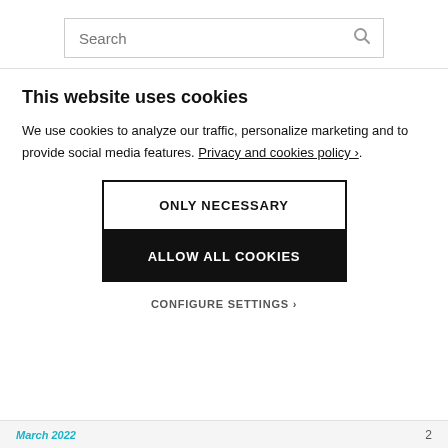[Figure (screenshot): Search bar with placeholder text 'Search' and a magnifying glass icon on the right]
This website uses cookies
We use cookies to analyze our traffic, personalize marketing and to provide social media features. Privacy and cookies policy ›.
ONLY NECESSARY
ALLOW ALL COOKIES
CONFIGURE SETTINGS ›
March 2022  2